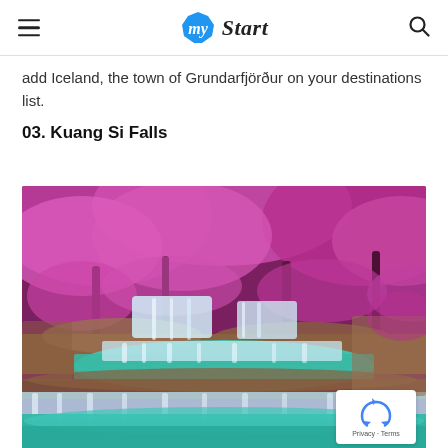my Start
add Iceland, the town of Grundarfjörður on your destinations list.
03. Kuang Si Falls
[Figure (photo): Kuang Si Falls with turquoise blue-green tiered waterfall pools surrounded by vivid magenta/purple trees in bloom. Silky smooth water flows over limestone terraces.]